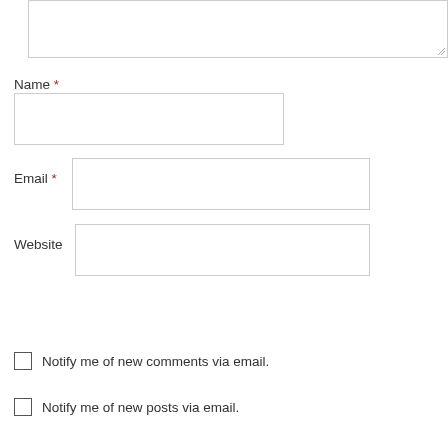[Figure (screenshot): Textarea input box (partially visible, top of page)]
Name *
[Figure (screenshot): Name text input field]
Email *
[Figure (screenshot): Email text input field]
Website
[Figure (screenshot): Website text input field]
[Figure (screenshot): POST COMMENT button]
Notify me of new comments via email.
Notify me of new posts via email.